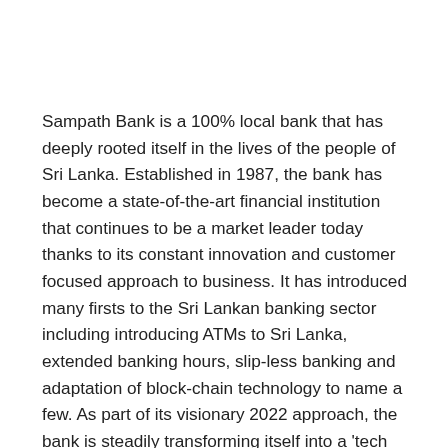Sampath Bank is a 100% local bank that has deeply rooted itself in the lives of the people of Sri Lanka. Established in 1987, the bank has become a state-of-the-art financial institution that continues to be a market leader today thanks to its constant innovation and customer focused approach to business. It has introduced many firsts to the Sri Lankan banking sector including introducing ATMs to Sri Lanka, extended banking hours, slip-less banking and adaptation of block-chain technology to name a few. As part of its visionary 2022 approach, the bank is steadily transforming itself into a 'tech company engaged in banking,' from the traditional approach of a bank adopting technology.